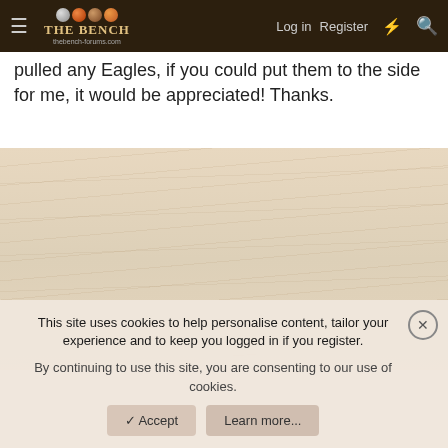The Bench — navigation bar with Log in, Register links
pulled any Eagles, if you could put them to the side for me, it would be appreciated! Thanks.
[Figure (other): Wood-grain texture background panel, light tan/beige color]
This site uses cookies to help personalise content, tailor your experience and to keep you logged in if you register.
By continuing to use this site, you are consenting to our use of cookies.